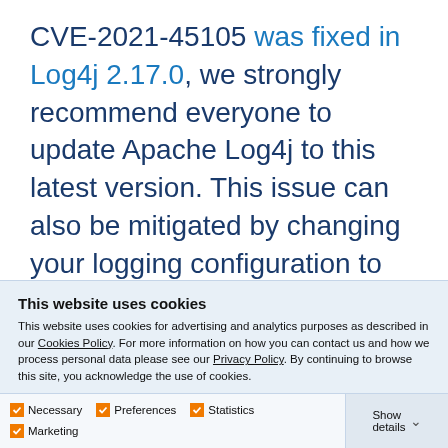CVE-2021-45105 was fixed in Log4j 2.17.0, we strongly recommend everyone to update Apache Log4j to this latest version. This issue can also be mitigated by changing your logging configuration to either replace Context Lookups like ${ctx:loginId} or $${ctx:loginId} with Thread Context Map lookups (%X, $${ctx:loginId} or %MDC), or by...
This website uses cookies
This website uses cookies for advertising and analytics purposes as described in our Cookies Policy. For more information on how you can contact us and how we process personal data please see our Privacy Policy. By continuing to browse this site, you acknowledge the use of cookies.
Allow selection
Allow all cookies
Necessary  Preferences  Statistics  Marketing  Show details